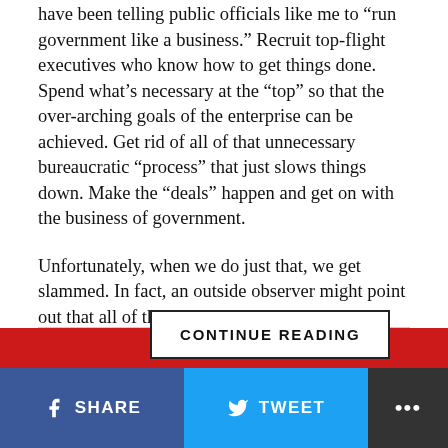have been telling public officials like me to “run government like a business.” Recruit top-flight executives who know how to get things done. Spend what’s necessary at the “top” so that the over-arching goals of the enterprise can be achieved. Get rid of all of that unnecessary bureaucratic “process” that just slows things down. Make the “deals” happen and get on with the business of government.
Unfortunately, when we do just that, we get slammed. In fact, an outside observer might point out that all of this emphasis on running government like a business is just a trap for the poor unsuspecting schlubs (a.k.a. government officials)...
[Figure (other): CONTINUE READING button overlay]
[Figure (other): Red masthead banner partially visible at bottom]
SHARE  TWEET  ...